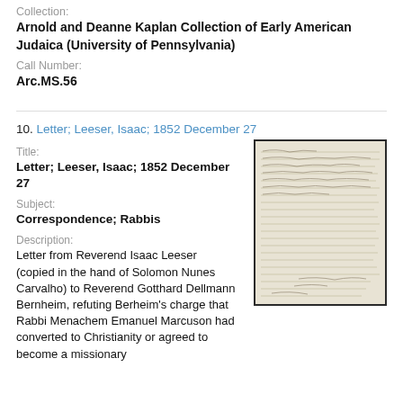Collection:
Arnold and Deanne Kaplan Collection of Early American Judaica (University of Pennsylvania)
Call Number:
Arc.MS.56
10. Letter; Leeser, Isaac; 1852 December 27
Title:
Letter; Leeser, Isaac; 1852 December 27
Subject:
Correspondence; Rabbis
Description:
Letter from Reverend Isaac Leeser (copied in the hand of Solomon Nunes Carvalho) to Reverend Gotthard Dellmann Bernheim, refuting Berheim's charge that Rabbi Menachem Emanuel Marcuson had converted to Christianity or agreed to become a missionary
[Figure (photo): Photograph of a handwritten letter document, showing old cursive script on aged paper, bordered in dark frame.]